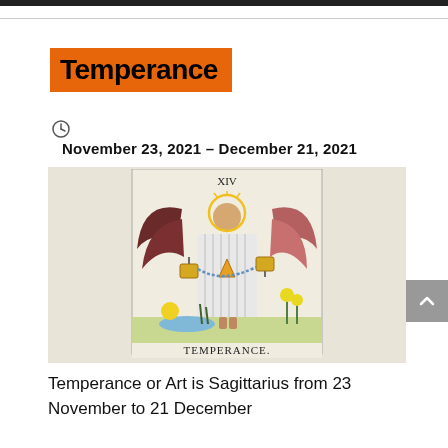Temperance
November 23, 2021 – December 21, 2021
[Figure (illustration): Tarot card XIV — Temperance: an angel with large wings wearing a white robe, pouring liquid between two golden cups, standing in a landscape with water, flowers, and a sun. Text 'TEMPERANCE.' at the bottom of the card and 'XIV' at the top.]
Temperance or Art is Sagittarius from 23 November to 21 December